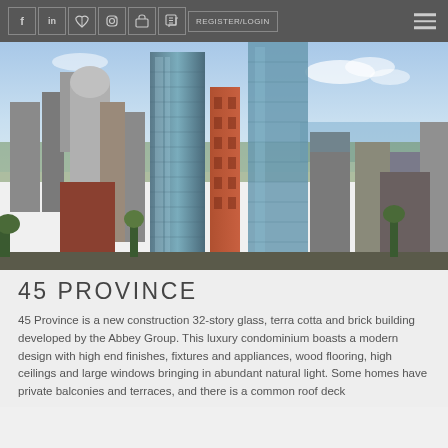f  in  twitter  instagram  rss  edit | REGISTER/LOGIN  ☰
[Figure (photo): Aerial cityscape photo of Boston showing modern glass and brick high-rise buildings including a prominent terra cotta tower, with tree-lined streets and a river visible in the background under a partly cloudy sky.]
45 PROVINCE
45 Province is a new construction 32-story glass, terra cotta and brick building developed by the Abbey Group. This luxury condominium boasts a modern design with high end finishes, fixtures and appliances, wood flooring, high ceilings and large windows bringing in abundant natural light. Some homes have private balconies and terraces, and there is a common roof deck